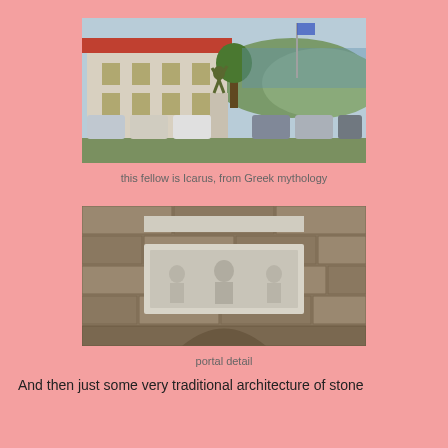[Figure (photo): Photograph of Icarus statue on a pedestal in a public square, with parked cars and a white building in the background, hills visible in the distance.]
this fellow is Icarus, from Greek mythology
[Figure (photo): Close-up photograph of a stone portal detail showing a carved stone relief plaque embedded in a stone wall, with an arched opening below.]
portal detail
And then just some very traditional architecture of stone